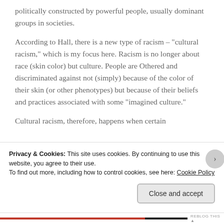politically constructed by powerful people, usually dominant groups in societies.
According to Hall, there is a new type of racism – “cultural racism,” which is my focus here. Racism is no longer about race (skin color) but culture. People are Othered and discriminated against not (simply) because of the color of their skin (or other phenotypes) but because of their beliefs and practices associated with some “imagined culture.”
Cultural racism, therefore, happens when certain
Privacy & Cookies: This site uses cookies. By continuing to use this website, you agree to their use.
To find out more, including how to control cookies, see here: Cookie Policy